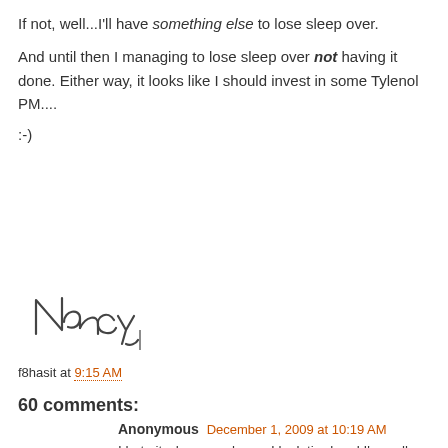If not, well...I'll have something else to lose sleep over.
And until then I managing to lose sleep over not having it done. Either way, it looks like I should invest in some Tylenol PM....
:-)
[Figure (illustration): Handwritten signature reading 'Nancy' in cursive script]
f8hasit at 9:15 AM
60 comments:
Anonymous December 1, 2009 at 10:19 AM
I hate it when people say I look tired and I'm well rested!